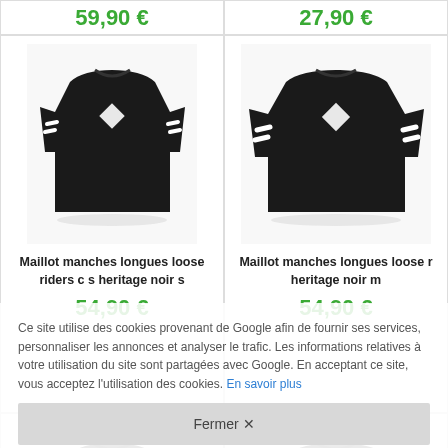59,90 €
27,90 €
[Figure (photo): Black long sleeve jersey - Maillot manches longues loose riders c s heritage noir s]
Maillot manches longues loose riders c s heritage noir s
54,90 €
[Figure (photo): Black long sleeve jersey - Maillot manches longues loose r heritage noir m]
Maillot manches longues loose r heritage noir m
54,90 €
[Figure (photo): Grey long sleeve jersey - back view]
[Figure (photo): Grey/green long sleeve jersey with orange triangle]
Ce site utilise des cookies provenant de Google afin de fournir ses services, personnaliser les annonces et analyser le trafic. Les informations relatives à votre utilisation du site sont partagées avec Google. En acceptant ce site, vous acceptez l'utilisation des cookies. En savoir plus
Fermer ✕